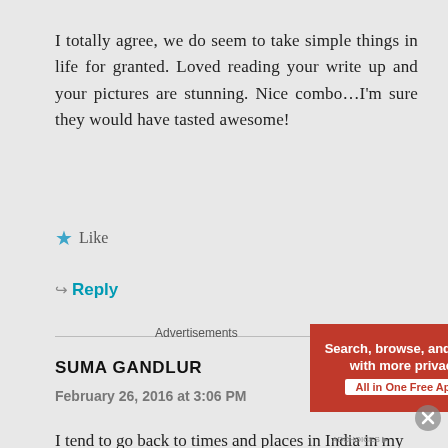I totally agree, we do seem to take simple things in life for granted. Loved reading your write up and your pictures are stunning. Nice combo…I'm sure they would have tasted awesome!
★ Like
↳ Reply
SUMA GANDLUR
February 26, 2016 at 3:06 PM
I tend to go back to times and places in India in my
[Figure (screenshot): DuckDuckGo advertisement banner with orange background, text 'Search, browse, and email with more privacy. All in One Free App' and DuckDuckGo duck logo on dark right panel]
Advertisements